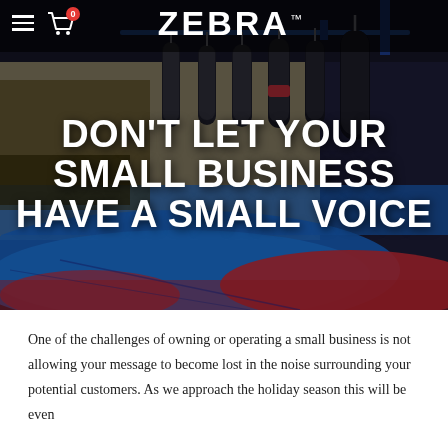[Figure (photo): Hero image of a martial arts gym/dojo showing punching bags hanging from a rack, with blue and red floor mats, overlaid with the Zebra brand logo and a large headline text]
DON'T LET YOUR SMALL BUSINESS HAVE A SMALL VOICE
One of the challenges of owning or operating a small business is not allowing your message to become lost in the noise surrounding your potential customers. As we approach the holiday season this will be even